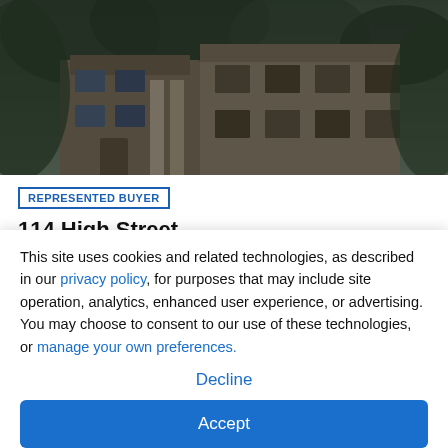[Figure (photo): Exterior photo of a multi-story brick/wood house with trees in front, dark/moody lighting]
REPRESENTED BUYER
114 High Street
Chestertown, MD 21620
🛏 5bd   🛁 3ba
Sold for: $364,999
This site uses cookies and related technologies, as described in our privacy policy, for purposes that may include site operation, analytics, enhanced user experience, or advertising. You may choose to consent to our use of these technologies, or manage your own preferences.
Decline
Accept